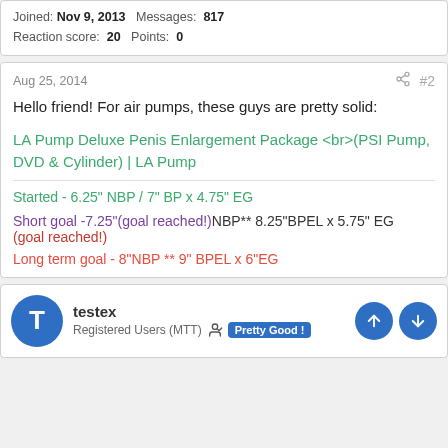Joined: Nov 9, 2013  Messages: 817  Reaction score: 20  Points: 0
Aug 25, 2014  #2
Hello friend! For air pumps, these guys are pretty solid:
LA Pump Deluxe Penis Enlargement Package <br>(PSI Pump, DVD & Cylinder) | LA Pump
Started - 6.25" NBP / 7" BP x 4.75" EG
Short goal -7.25"(goal reached!)NBP** 8.25"BPEL x 5.75" EG (goal reached!)
Long term goal - 8"NBP ** 9" BPEL x 6"EG
testex
Registered Users (MTT)  Pretty Good!